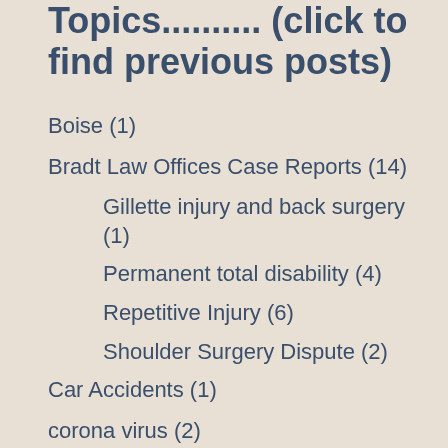Topics.......... (click to find previous posts)
Boise (1)
Bradt Law Offices Case Reports (14)
Gillette injury and back surgery (1)
Permanent total disability (4)
Repetitive Injury (6)
Shoulder Surgery Dispute (2)
Car Accidents (1)
corona virus (2)
coronavirus (2)
Courts (1)
Disability (1)